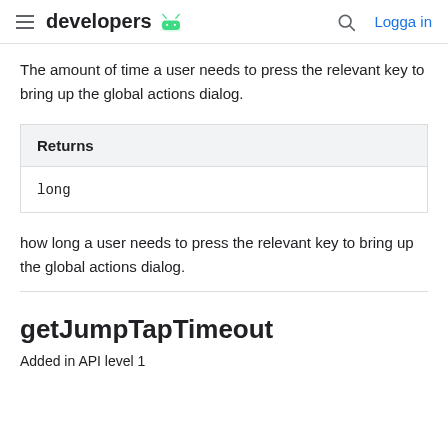developers — Logga in
The amount of time a user needs to press the relevant key to bring up the global actions dialog.
| Returns |
| --- |
| long |
how long a user needs to press the relevant key to bring up the global actions dialog.
getJumpTapTimeout
Added in API level 1